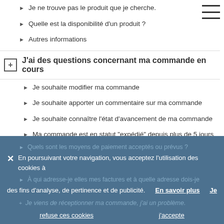Je ne trouve pas le produit que je cherche.
Quelle est la disponibilité d'un produit ?
Autres informations
J'ai des questions concernant ma commande en cours
Je souhaite modifier ma commande
Je souhaite apporter un commentaire sur ma commande
Je souhaite connaître l'état d'avancement de ma commande
Ma commande est en statut "expédié" depuis plus de 5 jours mais ne m'est pas encore parvenue
Je n'ai pas reçu d'accusé de réception
Je souhaite régler ma commande
Quels sont les moyens de paiement acceptés ou prévus ?
À qui adresse-je elles mes factures et à quelle adresse dois-je les envoyer ?
Je viens de réceptionner ma commande, j'ai un problème.
En poursuivant votre navigation, vous acceptez l'utilisation des cookies à des fins d'analyse, de pertinence et de publicité. En savoir plus Je refuse ces cookies j'accepte